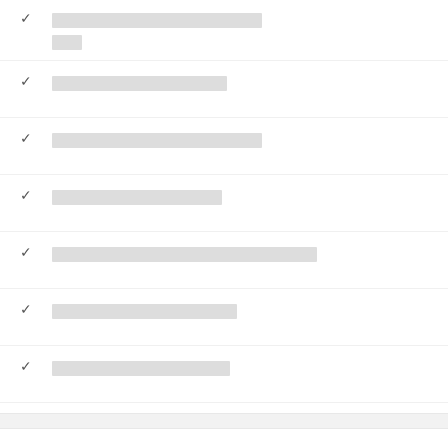✓ [Thai text] [Thai text]
✓ [Thai text]
✓ [Thai text]
✓ [Thai text]
✓ [Thai text]
✓ [Thai text]
✓ [Thai text]
8.6 [Thai] 1000 [Thai] [Thai]
9.1/10 [Thai]
8.8/10 [Thai]